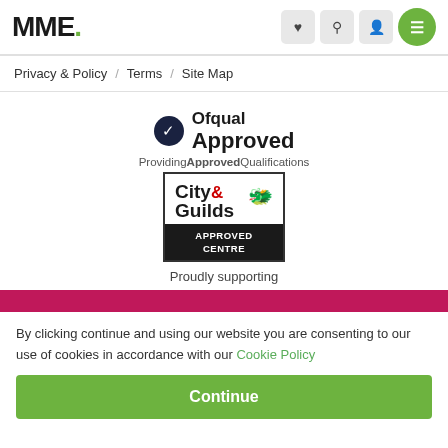MME.
Privacy & Policy  /  Terms  /  Site Map
[Figure (logo): Ofqual Approved badge with checkmark circle and text 'Ofqual Approved', with subtitle 'Providing Qualifications']
[Figure (logo): City & Guilds Approved Centre logo — white top section with 'City & Guilds' text and red dragon, black bottom section with 'APPROVED CENTRE']
Proudly supporting
By clicking continue and using our website you are consenting to our use of cookies in accordance with our Cookie Policy